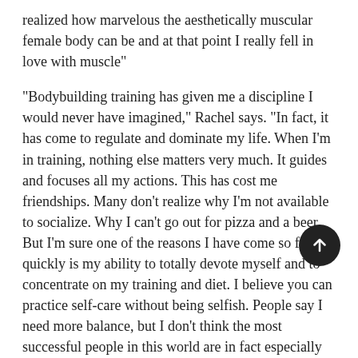realized how marvelous the aesthetically muscular female body can be and at that point I really fell in love with muscle"
"Bodybuilding training has given me a discipline I would never have imagined," Rachel says. "In fact, it has come to regulate and dominate my life. When I'm in training, nothing else matters very much. It guides and focuses all my actions. This has cost me friendships. Many don't realize why I'm not available to socialize. Why I can't go out for pizza and a beer. But I'm sure one of the reasons I have come so far so quickly is my ability to totally devote myself and to concentrate on my training and diet. I believe you can practice self-care without being selfish. People say I need more balance, but I don't think the most successful people in this world are in fact especially balanced. "
In her mind, the "Lois Lane Mentality" involves tremendous focus and discipline. This kind of extreme strictness may not be something she can maintain for years and years, but she's